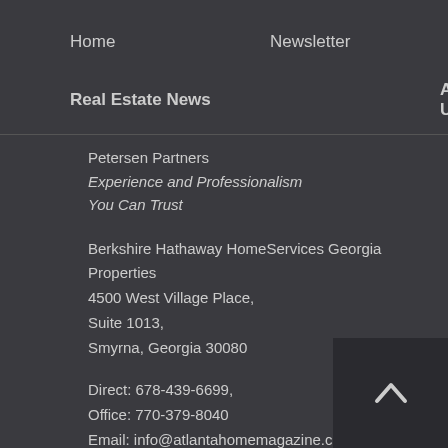Home   Newsletter   Home Ownership
Real Estate News   About Us
Petersen Partners
Experience and Professionalism
You Can Trust
Berkshire Hathaway HomeServices Georgia Properties
4500 West Village Place,
Suite 1013,
Smyrna, Georgia 30080
Direct: 678-439-6699,
Office: 770-379-8040
Email: info@atlantahomemagazine.com
Find out more about the #1 team for Berkshire Hathaway HomeServices Georgia Properties at
www.petersenpartners.com